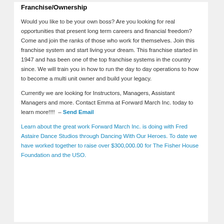Franchise/Ownership
Would you like to be your own boss? Are you looking for real opportunities that present long term careers and financial freedom? Come and join the ranks of those who work for themselves. Join this franchise system and start living your dream. This franchise started in 1947 and has been one of the top franchise systems in the country since. We will train you in how to run the day to day operations to how to become a multi unit owner and build your legacy.
Currently we are looking for Instructors, Managers, Assistant Managers and more. Contact Emma at Forward March Inc. today to learn more!!!!  – Send Email
Learn about the great work Forward March Inc. is doing with Fred Astaire Dance Studios through Dancing With Our Heroes. To date we have worked together to raise over $300,000.00 for The Fisher House Foundation and the USO.